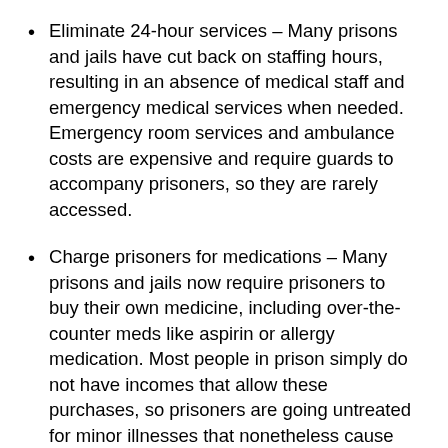Eliminate 24-hour services – Many prisons and jails have cut back on staffing hours, resulting in an absence of medical staff and emergency medical services when needed. Emergency room services and ambulance costs are expensive and require guards to accompany prisoners, so they are rarely accessed.
Charge prisoners for medications – Many prisons and jails now require prisoners to buy their own medicine, including over-the-counter meds like aspirin or allergy medication. Most people in prison simply do not have incomes that allow these purchases, so prisoners are going untreated for minor illnesses that nonetheless cause them unnecessary pain and suffering.